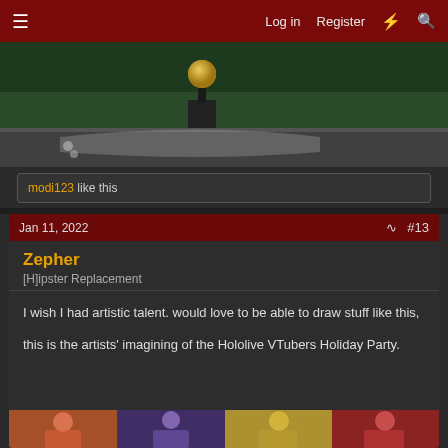≡   Log in   Register   ⚡   🔍
[Figure (screenshot): Dark green room interior with a trophy/lamp object on a surface, game screenshot style]
modi123 like this
Jan 11, 2022   #13
Zepher
[H]ipster Replacement
I wish I had artistic talent. would love to be able to draw stuff like this,
this is the artists' imagining of the Hololive VTubers Holiday Party.
[Figure (illustration): Anime-style illustration of Hololive VTubers at a Holiday Party, multiple colorful characters]